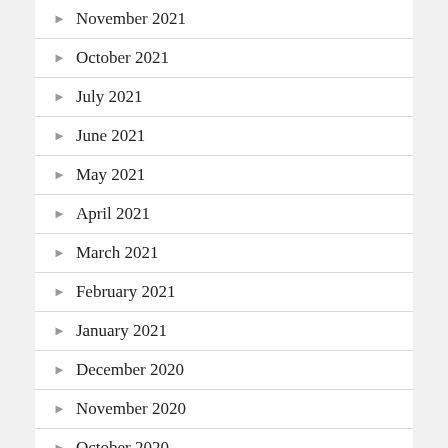November 2021
October 2021
July 2021
June 2021
May 2021
April 2021
March 2021
February 2021
January 2021
December 2020
November 2020
October 2020
September 2020